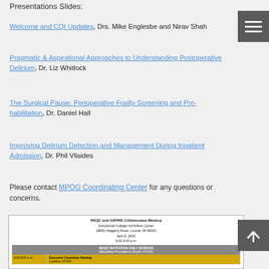Presentations Slides:
Welcome and CQI Updates, Drs. Mike Englesbe and Nirav Shah
Pragmatic & Aspirational Approaches to Understanding Postoperative Delirium, Dr. Liz Whitlock
The Surgical Pause: Perioperative Frailty Screening and Pre-habilitation, Dr. Daniel Hall
Improving Delirium Detection and Management During Inpatient Admission, Dr. Phil Vlisides
Please contact MPOG Coordinating Center for any questions or concerns.
[Figure (screenshot): Screenshot of MSQC and ASPIRE Collaborative Meeting agenda. Schoolcraft College-VisTaTech Center, 18600 Haggerty Road, Livonia, MI 48152, April 8, 2022, 9:00-3:00 p.m. Shows MSQC INVITATION ONLY SESSION (Breakfast Provided in Room VT470) with 8:00-9:00 a.m. Executive Committee Meeting, Location: VT400.]